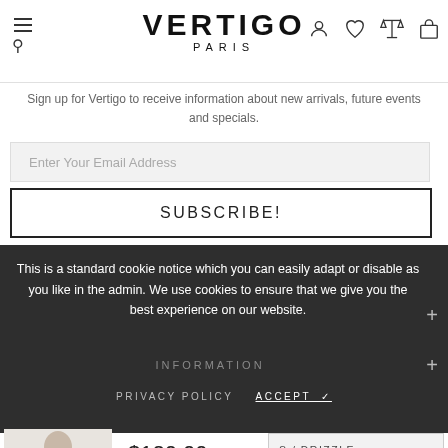[Figure (screenshot): Vertigo Paris website header with logo, hamburger menu, search icon, and navigation icons (user, wishlist, compare, cart)]
Sign up for Vertigo to receive information about new arrivals, future events and specials.
Enter Your Email Address
SUBSCRIBE!
This is a standard cookie notice which you can easily adapt or disable as you like in the admin. We use cookies to ensure that we give you the best experience on our website.
INFORMATION
PRIVACY POLICY   ACCEPT ✓
[Figure (photo): Woman wearing light beige long-sleeve top with dark pants]
$120.00
S / DRIZZLE
ADD TO CART